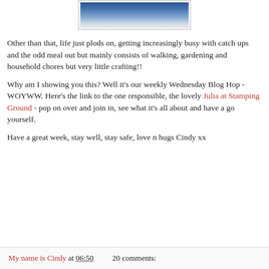[Figure (photo): Partial photograph of a blue crafting/stamping item on a white surface, shown cropped at the top of the page]
Other than that, life just plods on, getting increasingly busy with catch ups and the odd meal out but mainly consists of walking, gardening and household chores but very little crafting!!
Why am I showing you this? Well it's our weekly Wednesday Blog Hop - WOYWW. Here's the link to the one responsible, the lovely Julia at Stamping Ground - pop on over and join in, see what it's all about and have a go yourself.
Have a great week, stay well, stay safe, love n hugs Cindy xx
My name is Cindy at 06:50    20 comments: